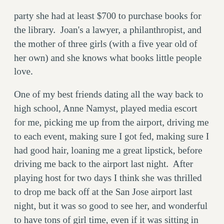party she had at least $700 to purchase books for the library.  Joan's a lawyer, a philanthropist, and the mother of three girls (with a five year old of her own) and she knows what books little people love.
One of my best friends dating all the way back to high school, Anne Namyst, played media escort for me, picking me up from the airport, driving me to each event, making sure I got fed, making sure I had good hair, loaning me a great lipstick, before driving me back to the airport last night.  After playing host for two days I think she was thrilled to drop me back off at the San Jose airport last night, but it was so good to see her, and wonderful to have tons of girl time, even if it was sitting in traffic between events.
I am lucky.  I am incredibly, unbelievably fortunate.  I love my friends and have so many good people who look out for me.  They are here on my b-board,